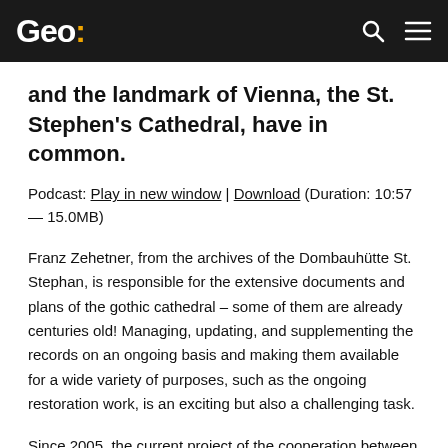Geo:
and the landmark of Vienna, the St. Stephen's Cathedral, have in common.
Podcast: Play in new window | Download (Duration: 10:57 — 15.0MB)
Franz Zehetner, from the archives of the Dombauhütte St. Stephan, is responsible for the extensive documents and plans of the gothic cathedral – some of them are already centuries old! Managing, updating, and supplementing the records on an ongoing basis and making them available for a wide variety of purposes, such as the ongoing restoration work, is an exciting but also a challenging task.
Since 2005, the current project of the cooperation between Dombauhütte and RIEGL, have proven how effective and